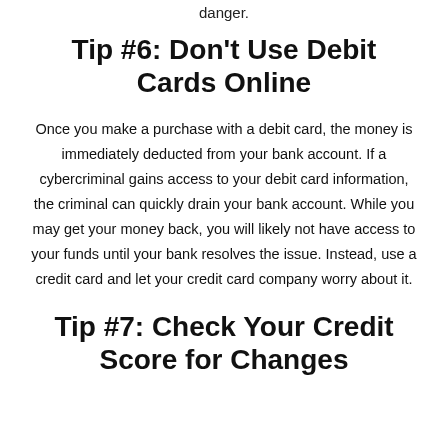danger.
Tip #6: Don't Use Debit Cards Online
Once you make a purchase with a debit card, the money is immediately deducted from your bank account. If a cybercriminal gains access to your debit card information, the criminal can quickly drain your bank account. While you may get your money back, you will likely not have access to your funds until your bank resolves the issue. Instead, use a credit card and let your credit card company worry about it.
Tip #7: Check Your Credit Score for Changes